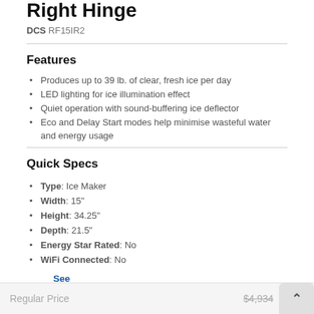Right Hinge
DCS RF15IR2
Features
Produces up to 39 lb. of clear, fresh ice per day
LED lighting for ice illumination effect
Quiet operation with sound-buffering ice deflector
Eco and Delay Start modes help minimise wasteful water and energy usage
Quick Specs
Type: Ice Maker
Width: 15"
Height: 34.25"
Depth: 21.5"
Energy Star Rated: No
WiFi Connected: No
See More
Regular Price $4,934